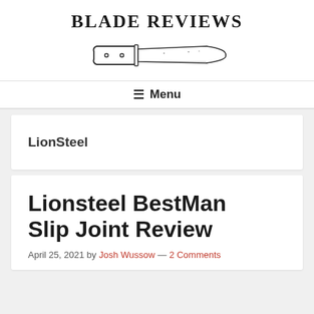BLADE REVIEWS
[Figure (illustration): Line drawing of a kitchen/chef knife facing right, with a white handle with two rivets and a large blade]
Menu
LionSteel
Lionsteel BestMan Slip Joint Review
April 25, 2021 by Josh Wussow — 2 Comments